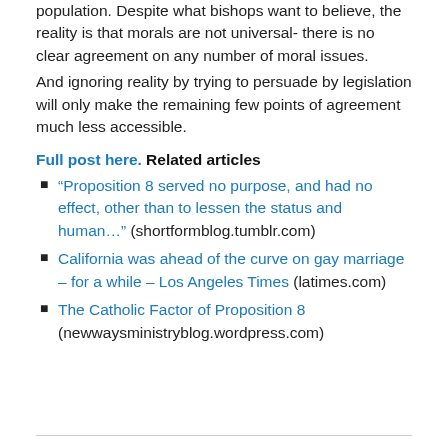population. Despite what bishops want to believe, the reality is that morals are not universal- there is no clear agreement on any number of moral issues.
And ignoring reality by trying to persuade by legislation will only make the remaining few points of agreement much less accessible.
Full post here.
Related articles
“Proposition 8 served no purpose, and had no effect, other than to lessen the status and human…” (shortformblog.tumblr.com)
California was ahead of the curve on gay marriage – for a while – Los Angeles Times (latimes.com)
The Catholic Factor of Proposition 8 (newwaysministryblog.wordpress.com)